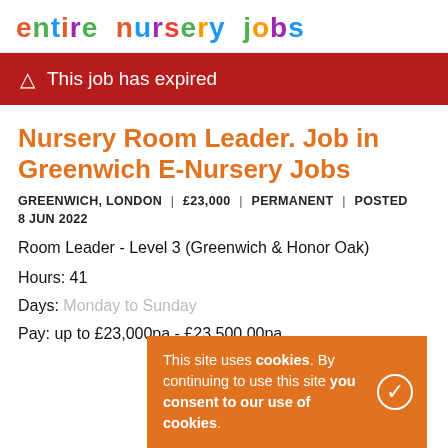entire nursery jobs
⚠ This job has expired
Nursery Room Leader. Job in Greenwich E-Nursery Jobs
GREENWICH, LONDON | £23,000 | PERMANENT | POSTED 8 JUN 2022
Room Leader - Level 3 (Greenwich & Honor Oak)
Hours: 41
Days: Monday to Sunday
Pay: up to £23,000pa - £23,500.00pa
This site uses cookies. By continuing to use this site you consent to our use of cookies.